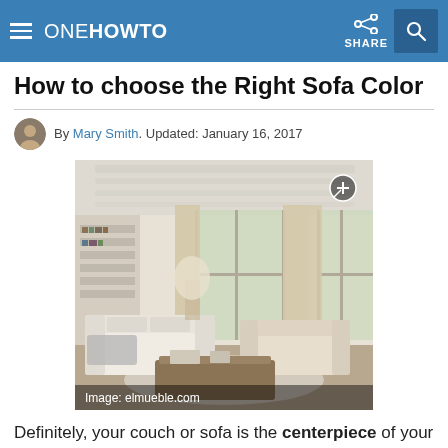ONE HOWTO | SHARE
How to choose the Right Sofa Color
By Mary Smith. Updated: January 16, 2017
[Figure (photo): Bright living room with white sofas, bookshelves, and large windows with cream curtains. Image: elmueble.com]
Definitely, your couch or sofa is the centerpiece of your lounge or living room. Not only for the space it occupies, but because it is the most used part of this room. In addition, a sofa requires a significant investment, although